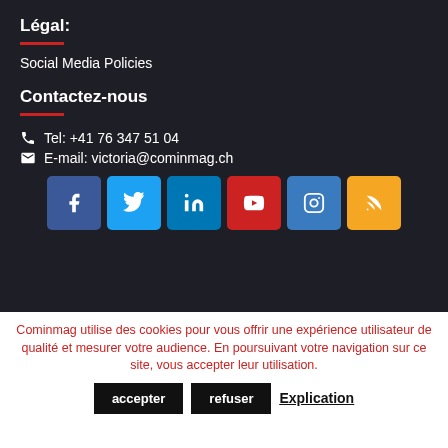Légal:
Social Media Policies
Contactez-nous
Tel: +41 76 347 51 04
E-mail: victoria@cominmag.ch
[Figure (infographic): Row of six social media icon buttons: Facebook (blue), Twitter (light blue), LinkedIn (blue), YouTube (red), Instagram (blue), RSS (orange)]
Cominmag utilise des cookies pour vous offrir une expérience utilisateur de qualité et mesurer votre audience. En poursuivant votre navigation sur ce site, vous accepter leur utilisation.
accepter   refuser   Explication